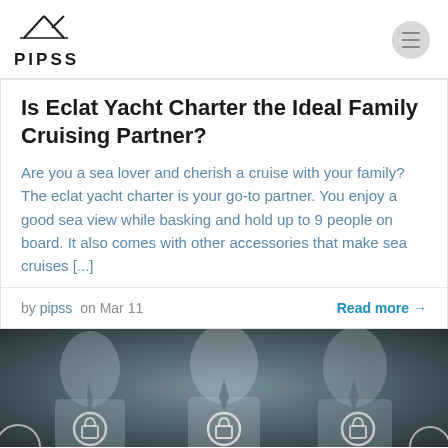PIPSS
Is Eclat Yacht Charter the Ideal Family Cruising Partner?
Are you a sea lover and cherish a cruise with your family? The eclat yacht charter is your go-to partner. You enjoy a good sea view while basking and hold up to 9 people on board. It also comes with other accessories that make sea cruises [...]
by pipss  on Mar 11   Read more →
[Figure (photo): Dark blurred photo showing people in suits with digital security lock icons overlaid]